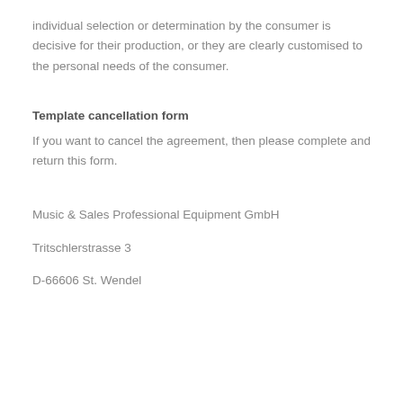individual selection or determination by the consumer is decisive for their production, or they are clearly customised to the personal needs of the consumer.
Template cancellation form
If you want to cancel the agreement, then please complete and return this form.
Music & Sales Professional Equipment GmbH
Tritschlerstrasse 3
D-66606 St. Wendel